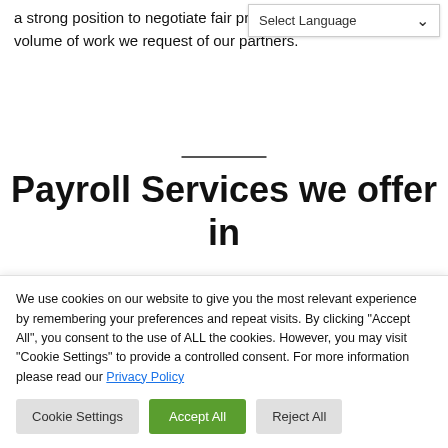a strong position to negotiate fair prices given the volume of work we request of our partners.
[Figure (screenshot): Language selector dropdown UI element showing 'Select Language' with a down arrow]
Payroll Services we offer in
We use cookies on our website to give you the most relevant experience by remembering your preferences and repeat visits. By clicking "Accept All", you consent to the use of ALL the cookies. However, you may visit "Cookie Settings" to provide a controlled consent. For more information please read our Privacy Policy